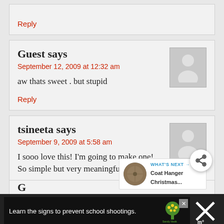Reply
Guest says
September 12, 2009 at 12:32 am
aw thats sweet . but stupid
Reply
tsineeta says
September 9, 2009 at 5:58 am
I sooo love this! I'm going to make one! So simple but very meaningful.
Reply
WHAT'S NEXT → Coat Hanger Christmas...
Learn the signs to prevent school shootings.